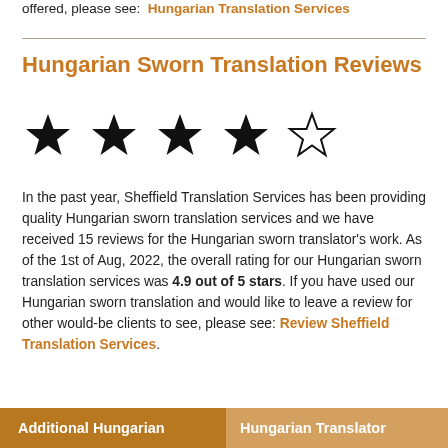offered, please see:  Hungarian Translation Services
Hungarian Sworn Translation Reviews
[Figure (other): Star rating showing 4 filled stars and 1 empty star out of 5]
In the past year, Sheffield Translation Services has been providing quality Hungarian sworn translation services and we have received 15 reviews for the Hungarian sworn translator's work. As of the 1st of Aug, 2022, the overall rating for our Hungarian sworn translation services was 4.9 out of 5 stars. If you have used our Hungarian sworn translation and would like to leave a review for other would-be clients to see, please see: Review Sheffield Translation Services.
Additional Hungarian | Hungarian Translator